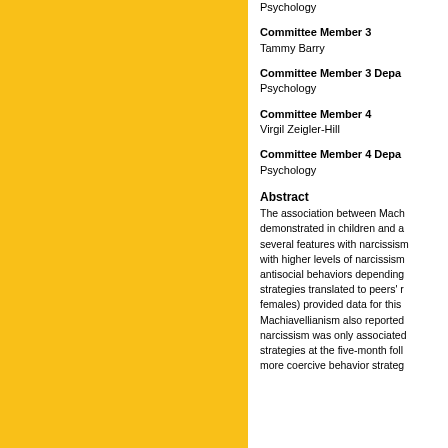Psychology
Committee Member 3
Tammy Barry
Committee Member 3 Department
Psychology
Committee Member 4
Virgil Zeigler-Hill
Committee Member 4 Department
Psychology
Abstract
The association between Machiavellianism and antisocial behavior has been demonstrated in children and adults. Machiavellianism shares several features with narcissism, and narcissism has been associated with higher levels of narcissism. Narcissism has been linked to antisocial behaviors depending on strategies translated to peers' responses. Several participants (females) provided data for this study. Individuals higher in Machiavellianism also reported more narcissism. However, narcissism was only associated with more coercive behavior strategies at the five-month follow-up. Those higher showed more coercive behavior strategies.